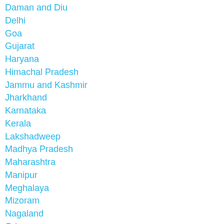Daman and Diu
Delhi
Goa
Gujarat
Haryana
Himachal Pradesh
Jammu and Kashmir
Jharkhand
Karnataka
Kerala
Lakshadweep
Madhya Pradesh
Maharashtra
Manipur
Meghalaya
Mizoram
Nagaland
Orissa
Pondicherry